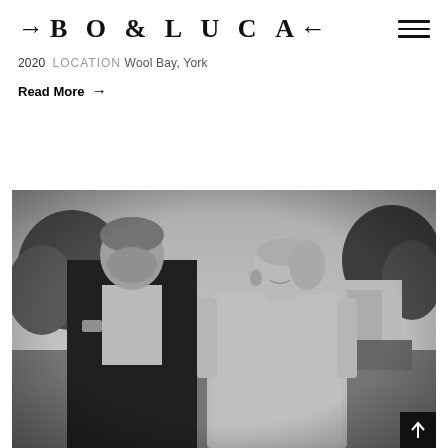→B O & L U C A←
2020  LOCATION Wool Bay, York
Read More →
[Figure (photo): Black and white photograph of a couple, a man in a dark suit and a woman in a white lace dress with long sleeves, standing outdoors looking at each other with trees and greenery in the background.]